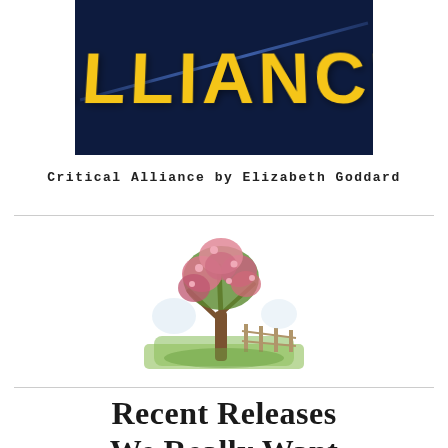[Figure (illustration): Book cover showing 'ALLIANCE' in large yellow bold letters on a dark navy background with diagonal light streaks]
Critical Alliance by Elizabeth Goddard
[Figure (illustration): Illustration of a tree with pink blossoms in a pastoral landscape with green fields and a fence]
Recent Releases We Really Want To Read